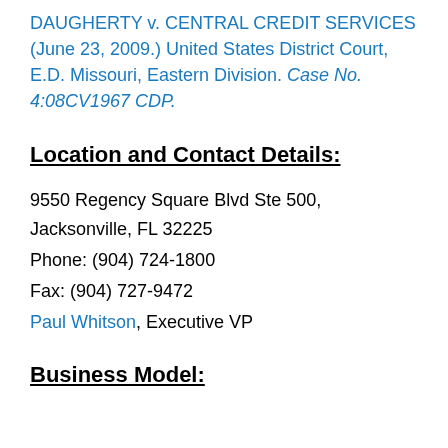DAUGHERTY v. CENTRAL CREDIT SERVICES (June 23, 2009.) United States District Court, E.D. Missouri, Eastern Division. Case No. 4:08CV1967 CDP.
Location and Contact Details:
9550 Regency Square Blvd Ste 500, Jacksonville, FL 32225
Phone: (904) 724-1800
Fax: (904) 727-9472
Paul Whitson, Executive VP
Business Model: